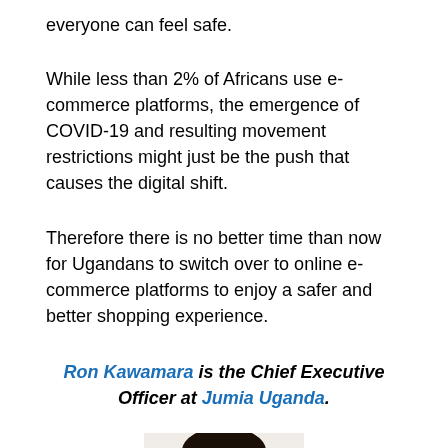everyone can feel safe.
While less than 2% of Africans use e-commerce platforms, the emergence of COVID-19 and resulting movement restrictions might just be the push that causes the digital shift.
Therefore there is no better time than now for Ugandans to switch over to online e-commerce platforms to enjoy a safer and better shopping experience.
Ron Kawamara is the Chief Executive Officer at Jumia Uganda.
[Figure (photo): Portrait photo of Ron Kawamara, head and shoulders visible, cropped at bottom of frame]